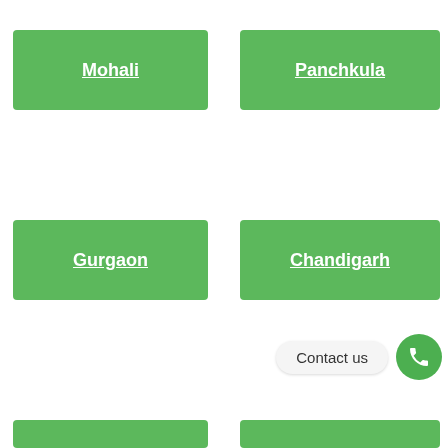Mohali
Panchkula
Gurgaon
Chandigarh
Contact us
(partial green button row at bottom)